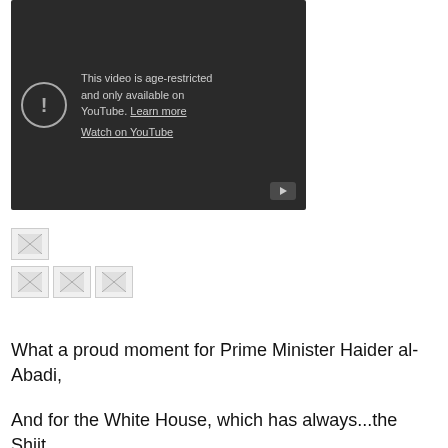[Figure (screenshot): YouTube age-restricted video embed showing a dark background with an exclamation circle icon, text 'This video is age-restricted and only available on YouTube. Learn more', a 'Watch on YouTube' link, and a YouTube play button icon in the bottom right corner.]
[Figure (photo): A single broken/missing image thumbnail placeholder]
[Figure (photo): Three broken/missing image thumbnail placeholders in a row]
What a proud moment for Prime Minister Haider al-Abadi,
And for the White House, which has always...the Shiit...